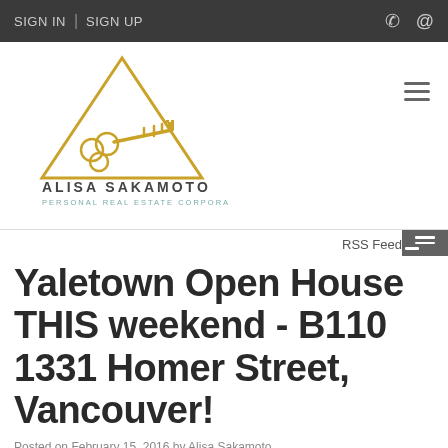SIGN IN | SIGN UP
[Figure (logo): Alisa Sakamoto Personal Real Estate Corporation logo — gold triangle with key inside, text below reads ALISA SAKAMOTO / PERSONAL REAL ESTATE CORPORATION]
RSS Feed
Yaletown Open House THIS weekend - B110 1331 Homer Street, Vancouver!
Posted on February 15, 2016 by Alisa Sakamoto